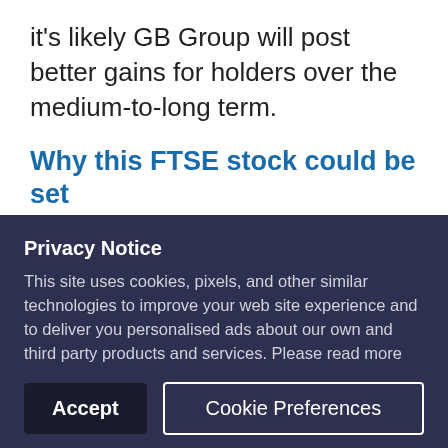it's likely GB Group will post better gains for holders over the medium-to-long term.
Why this FTSE stock could be set
Privacy Notice
This site uses cookies, pixels, and other similar technologies to improve your web site experience and to deliver you personalised ads about our own and third party products and services. Please read more about how we collect and use data about you in this way in our Cookies Statement in our Privacy Policy. You can change your cookie settings in your browser at any time.
Accept
Cookie Preferences